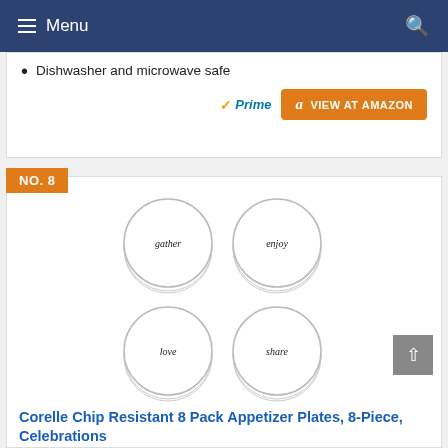Menu
Dishwasher and microwave safe
[Figure (logo): Amazon Prime badge and VIEW AT AMAZON orange button]
NO. 8
[Figure (photo): Four stacks of white Corelle appetizer plates arranged in a 2x2 grid, each plate inscribed with cursive words: gather, enjoy, love, share]
Corelle Chip Resistant 8 Pack Appetizer Plates, 8-Piece, Celebrations